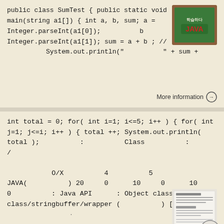public class SumTest { public static void main(string a1[]) { int a, b, sum; a = Integer.parseInt(a1[0]);          b          = Integer.parseInt(a1[1]); sum = a + b ; //           System.out.println("          " + sum +
[Figure (photo): Chalkboard with JAVA text]
More information →
int total = 0; for( int i=1; i<=5; i++ ) { for( int j=1; j<=i; i++ ) { total ++; System.out.println( total );          :          Class          :          /

           O/X          4          5
JAVA(          ) 20     0      10     0      10
0          : Java API     : Object class/string class/stringbuffer/wrapper (          ) [Q1]
[Figure (screenshot): Slide or document thumbnail]
More information →